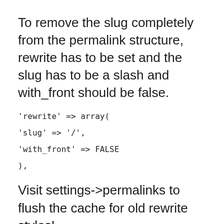To remove the slug completely from the permalink structure, rewrite has to be set and the slug has to be a slash and with_front should be false.
Visit settings->permalinks to flush the cache for old rewrite styles!
Schreibe einen Kommentar